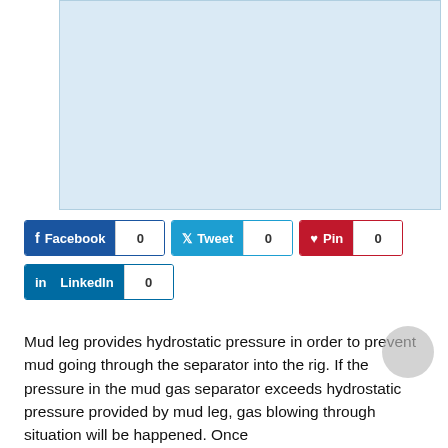[Figure (other): Light blue rectangular image placeholder area at the top of the page]
[Figure (infographic): Social sharing buttons row: Facebook (0), Tweet (0), Pin (0), LinkedIn (0)]
Mud leg provides hydrostatic pressure in order to prevent mud going through the separator into the rig. If the pressure in the mud gas separator exceeds hydrostatic pressure provided by mud leg, gas blowing through situation will be happened. Once